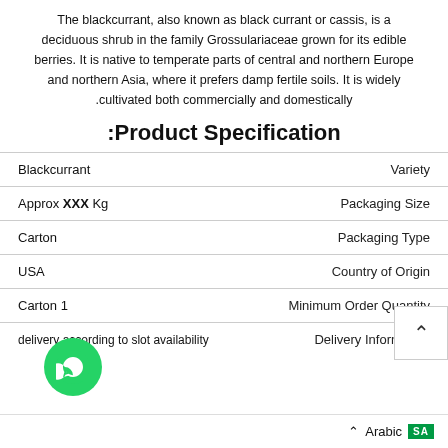The blackcurrant, also known as black currant or cassis, is a deciduous shrub in the family Grossulariaceae grown for its edible berries. It is native to temperate parts of central and northern Europe and northern Asia, where it prefers damp fertile soils. It is widely cultivated both commercially and domestically.
Product Specification:
| Value | Field |
| --- | --- |
| Blackcurrant | Variety |
| Approx XXX Kg | Packaging Size |
| Carton | Packaging Type |
| USA | Country of Origin |
| Carton 1 | Minimum Order Quantity |
| delivery according to slot availability | Delivery Information |